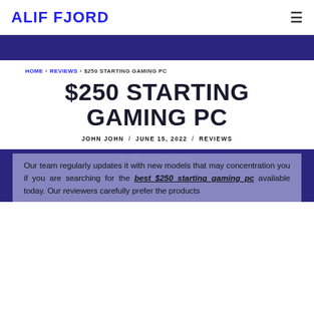ALIF FJORD
HOME › REVIEWS › $250 STARTING GAMING PC
$250 STARTING GAMING PC
JOHN JOHN / JUNE 15, 2022 / REVIEWS
Our team regularly updates it with new models that may concentration you if you are searching for the best $250 starting gaming pc available today. Our reviewers carefully prefer the products